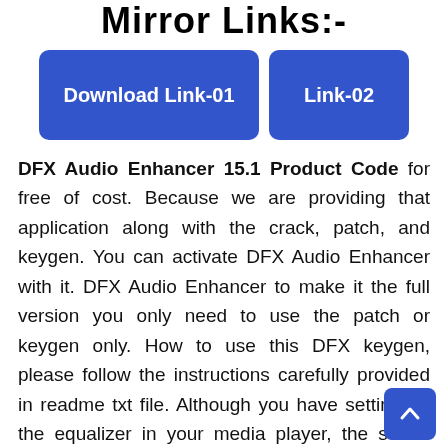Mirror Links:-
[Figure (other): Two blue rounded-rectangle download buttons side by side: 'Download Link-01' (larger) and 'Link-02' (smaller)]
DFX Audio Enhancer 15.1 Product Code for free of cost. Because we are providing that application along with the crack, patch, and keygen. You can activate DFX Audio Enhancer with it. DFX Audio Enhancer to make it the full version you only need to use the patch or keygen only. How to use this DFX keygen, please follow the instructions carefully provided in readme txt file. Although you have setting up the equalizer in your media player, the sound that came out was still unsatisfactory. Now is the time to try applications that can enhance the sound quality of the output DFX Audio